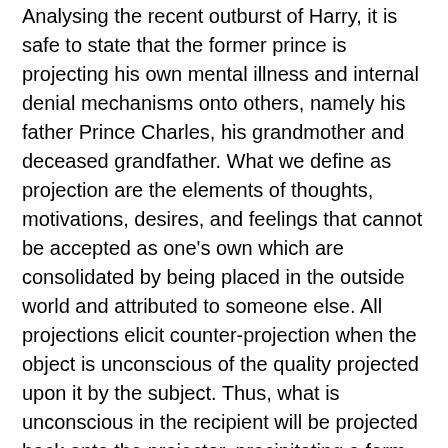Analysing the recent outburst of Harry, it is safe to state that the former prince is projecting his own mental illness and internal denial mechanisms onto others, namely his father Prince Charles, his grandmother and deceased grandfather. What we define as projection are the elements of thoughts, motivations, desires, and feelings that cannot be accepted as one's own which are consolidated by being placed in the outside world and attributed to someone else. All projections elicit counter-projection when the object is unconscious of the quality projected upon it by the subject. Thus, what is unconscious in the recipient will be projected back onto the projector, precipitating a form of mutual representational enactment.
“During his latest outburst Harry is quoted as saying: ‘There’s no blame. But certainly when it comes to parenting, if I have experienced some kind of pain or suffering because of the pain or suffering that perhaps my father, or my parents had